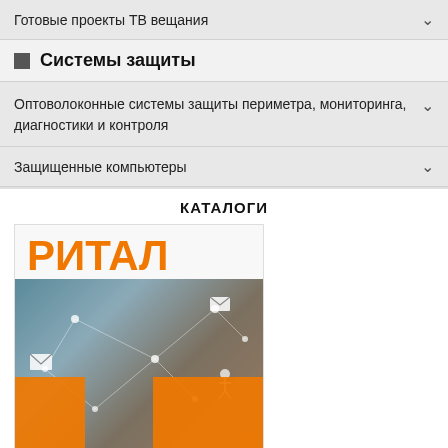Готовые проекты ТВ вещания
Системы защиты
Оптоволоконные системы защиты периметра, мониторинга, диагностики и контроля
Защищенные компьютеры
КАТАЛОГИ
[Figure (illustration): Catalog cover for РИТАЛ (Rittal) showing the brand name in orange text over a photo of a person working at a laptop with network connection graphics and orange design elements]